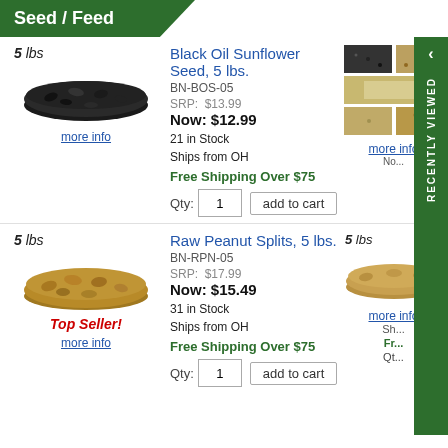Seed / Feed
5 lbs
Black Oil Sunflower Seed, 5 lbs.
BN-BOS-05
SRP: $13.99
Now: $12.99
21 in Stock
Ships from OH
Free Shipping Over $75
Qty: 1  add to cart
more info
5 lbs
Raw Peanut Splits, 5 lbs.
BN-RPN-05
SRP: $17.99
Now: $15.49
31 in Stock
Ships from OH
Free Shipping Over $75
Qty: 1  add to cart
Top Seller!
more info
5 lbs
more info